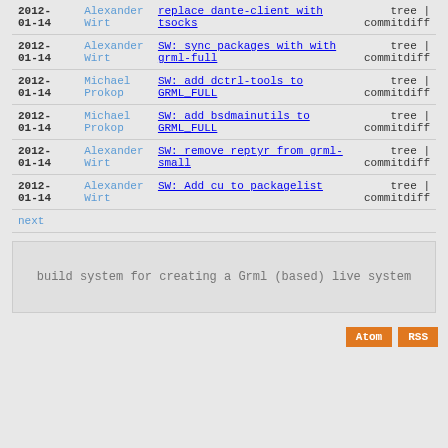| Date | Author | Message | Links |
| --- | --- | --- | --- |
| 2012-01-14 | Alexander Wirt | replace dante-client with tsocks | tree | commitdiff |
| 2012-01-14 | Alexander Wirt | SW: sync packages with with grml-full | tree | commitdiff |
| 2012-01-14 | Michael Prokop | SW: add dctrl-tools to GRML_FULL | tree | commitdiff |
| 2012-01-14 | Michael Prokop | SW: add bsdmainutils to GRML_FULL | tree | commitdiff |
| 2012-01-14 | Alexander Wirt | SW: remove reptyr from grml-small | tree | commitdiff |
| 2012-01-14 | Alexander Wirt | SW: Add cu to packagelist | tree | commitdiff |
| next |  |  |  |
build system for creating a Grml (based) live system
Atom  RSS